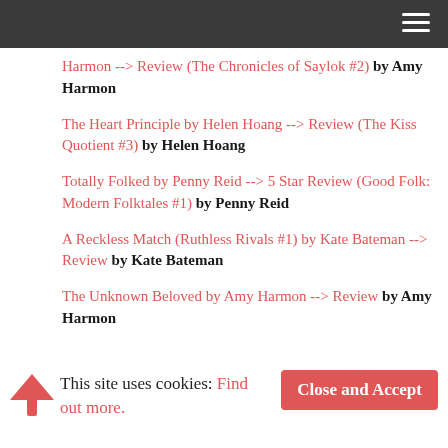Harmon --> Review (The Chronicles of Saylok #2) by Amy Harmon
The Heart Principle by Helen Hoang --> Review (The Kiss Quotient #3) by Helen Hoang
Totally Folked by Penny Reid --> 5 Star Review (Good Folk: Modern Folktales #1) by Penny Reid
A Reckless Match (Ruthless Rivals #1) by Kate Bateman --> Review by Kate Bateman
The Unknown Beloved by Amy Harmon --> Review by Amy Harmon
This site uses cookies: Find out more.
Close and Accept
Don't Miss A Thing!